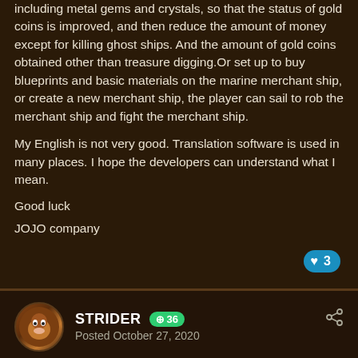including metal gems and crystals, so that the status of gold coins is improved, and then reduce the amount of money except for killing ghost ships. And the amount of gold coins obtained other than treasure digging.Or set up to buy blueprints and basic materials on the marine merchant ship, or create a new merchant ship, the player can sail to rob the merchant ship and fight the merchant ship.
My English is not very good. Translation software is used in many places. I hope the developers can understand what I mean.
Good luck
JOJO company
STRIDER  +36
Posted October 27, 2020
Barrel bombs, do something about it. How many times does your community have to tell you this, or you folks just that disconnected?